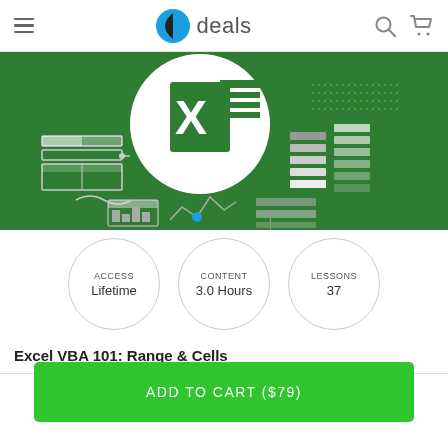deals
[Figure (screenshot): Excel VBA course hero image with green background showing Excel icon, spreadsheet tables, and chart icons]
ACCESS Lifetime
CONTENT 3.0 Hours
LESSONS 37
Excel VBA 101: Range & Cells
ADD TO CART ($79)